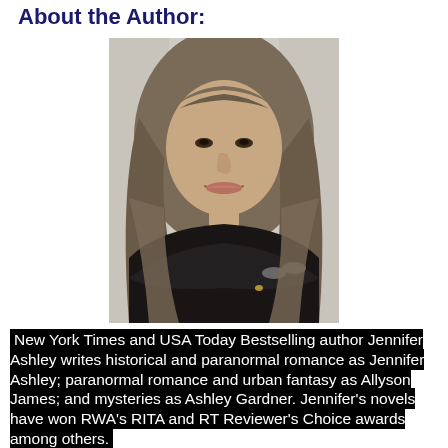About the Author:
[Figure (photo): Author photo: a woman with long grey-brown hair, smiling, wearing a black top and holding glasses, posed against a light grey door background.]
New York Times and USA Today Bestselling author Jennifer Ashley writes historical and paranormal romance as Jennifer Ashley; paranormal romance and urban fantasy as Allyson James; and mysteries as Ashley Gardner. Jennifer's novels have won RWA's RITA and RT Reviewer's Choice awards among others.